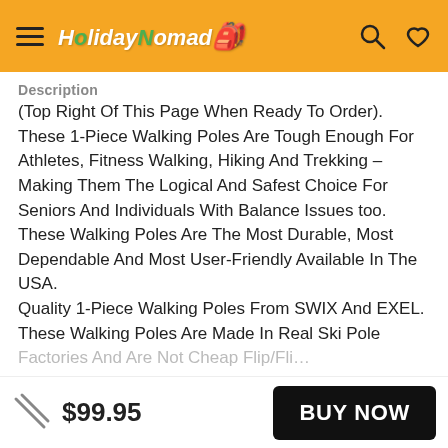HolidayNomad [logo]
Description
(Top Right Of This Page When Ready To Order). These 1-Piece Walking Poles Are Tough Enough For Athletes, Fitness Walking, Hiking And Trekking – Making Them The Logical And Safest Choice For Seniors And Individuals With Balance Issues too. These Walking Poles Are The Most Durable, Most Dependable And Most User-Friendly Available In The USA. Quality 1-Piece Walking Poles From SWIX And EXEL. These Walking Poles Are Made In Real Ski Pole Factories And Are Not Cheap Flip…
$99.95 BUY NOW